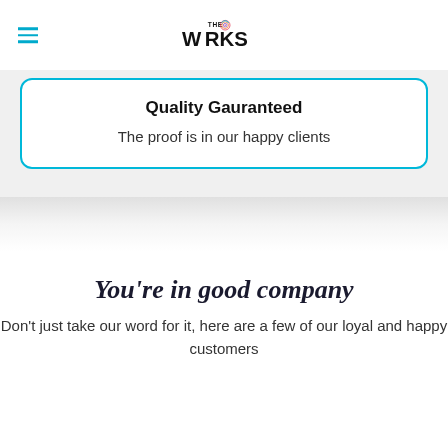THE WORKS (logo)
Quality Gauranteed
The proof is in our happy clients
You’re in good company
Don’t just take our word for it, here are a few of our loyal and happy customers